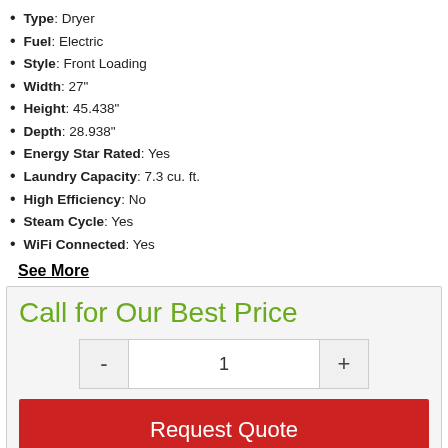Type: Dryer
Fuel: Electric
Style: Front Loading
Width: 27"
Height: 45.438"
Depth: 28.938"
Energy Star Rated: Yes
Laundry Capacity: 7.3 cu. ft.
High Efficiency: No
Steam Cycle: Yes
WiFi Connected: Yes
See More
Call for Our Best Price
1
Request Quote
Share This Item